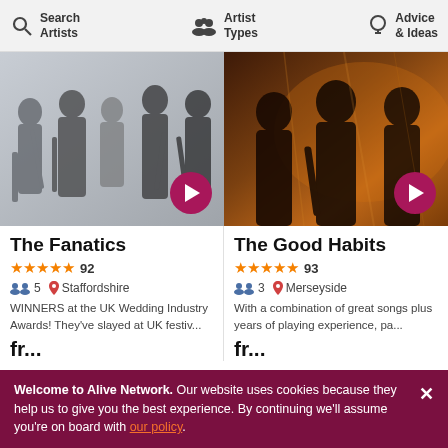Search Artists | Artist Types | Advice & Ideas
[Figure (photo): Band photo for The Fanatics - five musicians in formal wear with guitars on grey background]
The Fanatics
★★★★★ 92
5  Staffordshire
WINNERS at the UK Wedding Industry Awards! They've slayed at UK festiv...
[Figure (photo): Band photo for The Good Habits - three musicians in dark warm-lit setting with guitars]
The Good Habits
★★★★★ 93
3  Merseyside
With a combination of great songs plus years of playing experience, pa...
Welcome to Alive Network. Our website uses cookies because they help us to give you the best experience. By continuing we'll assume you're on board with our policy.